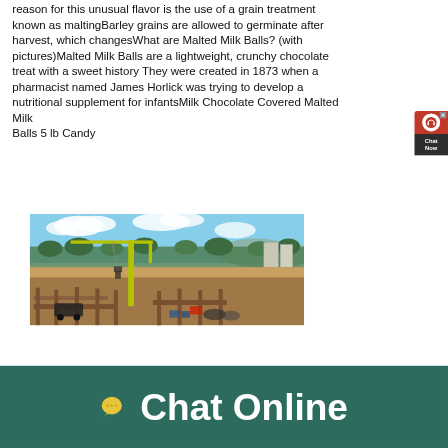reason for this unusual flavor is the use of a grain treatment known as maltingBarley grains are allowed to germinate after harvest, which changesWhat are Malted Milk Balls? (with pictures)Malted Milk Balls are a lightweight, crunchy chocolate treat with a sweet history They were created in 1873 when a pharmacist named James Horlick was trying to develop a nutritional supplement for infantsMilk Chocolate Covered Malted Milk Balls 5 lb Candy
[Figure (photo): Aerial view of a construction site with a yellow crane, wooden formwork, and excavation, with trees and buildings in the background under a partly cloudy sky]
[Figure (other): Red and dark chat widget popup in the top right corner with headphone icon and 'Chat Now' text]
Chat Online